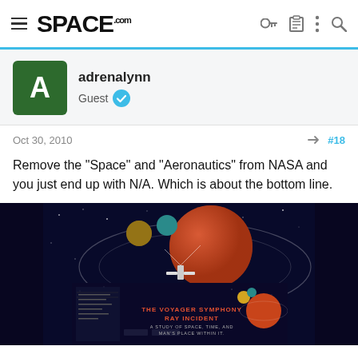SPACE.com
adrenalynn
Guest
Oct 30, 2010  #18
Remove the "Space" and "Aeronautics" from NASA and you just end up with N/A. Which is about the bottom line.
[Figure (illustration): Book cover illustration: 'The Voyager Symphony Ray Incident – A Study of Space, Time, and Man's Place Within It' with space/planet artwork on dark background. A smaller version of the same book cover appears overlapping at the bottom.]